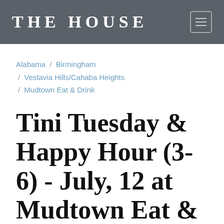THE HOUSE
Alabama / Birmingham / Vestavia Hills/Cahaba Heights / Mudtown Eat & Drink
Tini Tuesday & Happy Hour (3-6) - July, 12 at Mudtown Eat & Drink